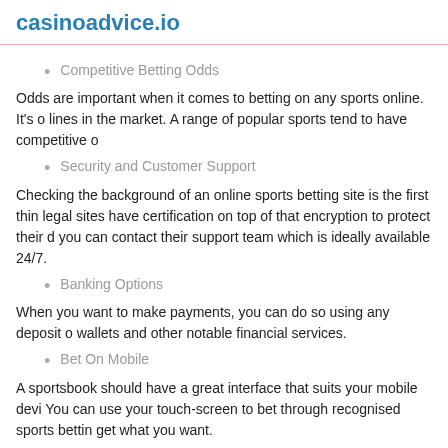casinoadvice.io
Competitive Betting Odds
Odds are important when it comes to betting on any sports online. It's lines in the market. A range of popular sports tend to have competitive o
Security and Customer Support
Checking the background of an online sports betting site is the first thin legal sites have certification on top of that encryption to protect their d you can contact their support team which is ideally available 24/7.
Banking Options
When you want to make payments, you can do so using any deposit o wallets and other notable financial services.
Bet On Mobile
A sportsbook should have a great interface that suits your mobile devi You can use your touch-screen to bet through recognised sports bettin get what you want.